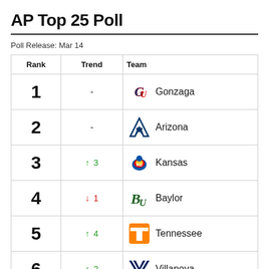AP Top 25 Poll
Poll Release: Mar 14
| Rank | Trend | Team |
| --- | --- | --- |
| 1 | - | Gonzaga |
| 2 | - | Arizona |
| 3 | ↑ 3 | Kansas |
| 4 | ↓ 1 | Baylor |
| 5 | ↑ 4 | Tennessee |
| 6 | ↑ 2 | Villanova |